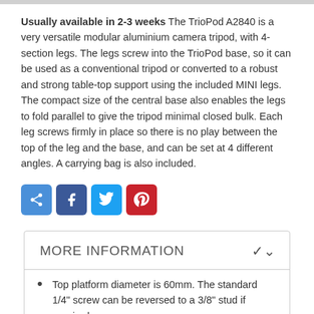Usually available in 2-3 weeks The TrioPod A2840 is a very versatile modular aluminium camera tripod, with 4-section legs. The legs screw into the TrioPod base, so it can be used as a conventional tripod or converted to a robust and strong table-top support using the included MINI legs. The compact size of the central base also enables the legs to fold parallel to give the tripod minimal closed bulk. Each leg screws firmly in place so there is no play between the top of the leg and the base, and can be set at 4 different angles. A carrying bag is also included.
[Figure (other): Social share buttons: generic share (blue), Facebook (dark blue), Twitter (light blue), Pinterest (red)]
MORE INFORMATION
Top platform diameter is 60mm. The standard 1/4" screw can be reversed to a 3/8" stud if required.
As well as standard height versions in 3- or 4-sections, there is now a Compact 4-section model with a 125cm maximum working height.